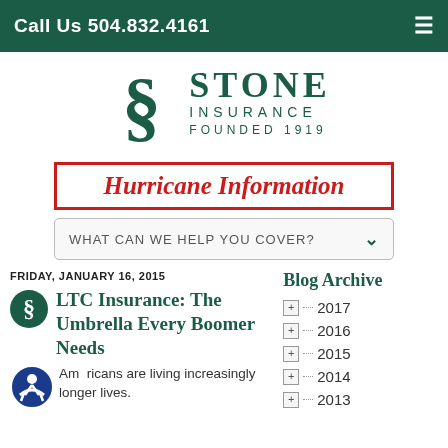Call Us 504.832.4161
[Figure (logo): Stone Insurance logo with stylized S and text 'STONE INSURANCE FOUNDED 1919']
Hurricane Information
WHAT CAN WE HELP YOU COVER?
FRIDAY, JANUARY 16, 2015
LTC Insurance: The Umbrella Every Boomer Need
Americans are living increasingly longer lives.
Blog Archive
2017
2016
2015
2014
2013